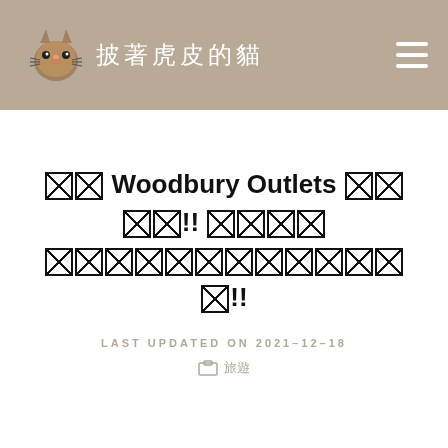披著虎皮的貓 [site logo and navigation]
逛 Woodbury Outlets 購物攻略!! 一次搞定超詳細比價懶人包攻略教學!!
LAST UPDATED ON 2021-12-18
🏷 旅遊